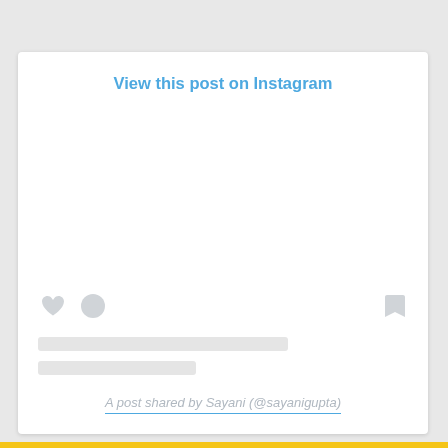View this post on Instagram
[Figure (screenshot): Instagram embed card placeholder with heart icon, comment icon, bookmark icon, two grey placeholder text bars, and a shared-by link at the bottom]
A post shared by Sayani (@sayanigupta)